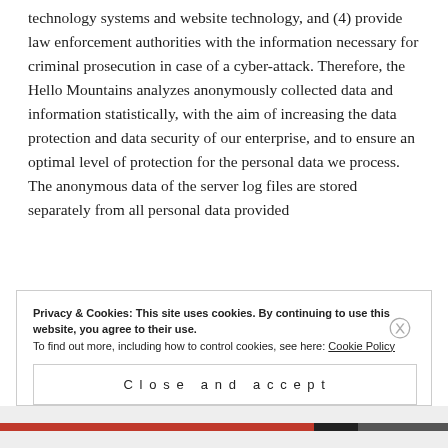technology systems and website technology, and (4) provide law enforcement authorities with the information necessary for criminal prosecution in case of a cyber-attack. Therefore, the Hello Mountains analyzes anonymously collected data and information statistically, with the aim of increasing the data protection and data security of our enterprise, and to ensure an optimal level of protection for the personal data we process. The anonymous data of the server log files are stored separately from all personal data provided
Privacy & Cookies: This site uses cookies. By continuing to use this website, you agree to their use.
To find out more, including how to control cookies, see here: Cookie Policy
Close and accept